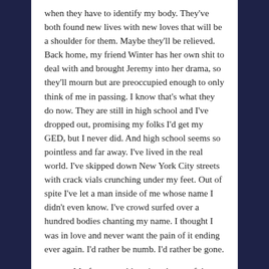when they have to identify my body. They've both found new lives with new loves that will be a shoulder for them. Maybe they'll be relieved. Back home, my friend Winter has her own shit to deal with and brought Jeremy into her drama, so they'll mourn but are preoccupied enough to only think of me in passing. I know that's what they do now. They are still in high school and I've dropped out, promising my folks I'd get my GED, but I never did. And high school seems so pointless and far away. I've lived in the real world. I've skipped down New York City streets with crack vials crunching under my feet. Out of spite I've let a man inside of me whose name I didn't even know. I've crowd surfed over a hundred bodies chanting my name. I thought I was in love and never want the pain of it ending ever again. I'd rather be numb. I'd rather be gone.

My feet are cold against the tar of the roof, the toenail polish chipped and starting to fade. I give another swig until the bottle is empty. I aim to launch it into the sky, not caring who I'd hit down below. I